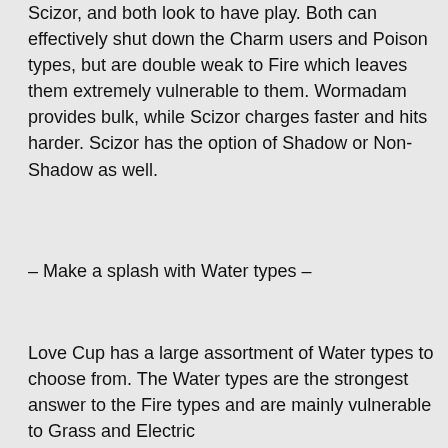Scizor, and both look to have play. Both can effectively shut down the Charm users and Poison types, but are double weak to Fire which leaves them extremely vulnerable to them. Wormadam provides bulk, while Scizor charges faster and hits harder. Scizor has the option of Shadow or Non-Shadow as well.
– Make a splash with Water types –
Love Cup has a large assortment of Water types to choose from. The Water types are the strongest answer to the Fire types and are mainly vulnerable to Grass and Electric